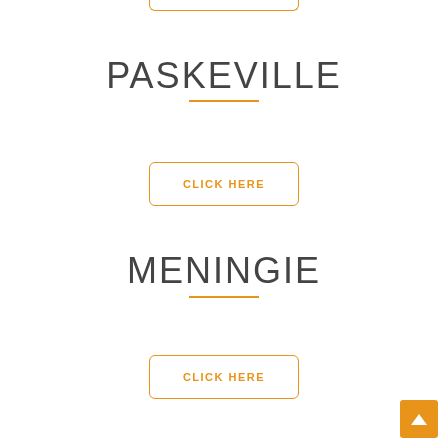PASKEVILLE
CLICK HERE
MENINGIE
CLICK HERE